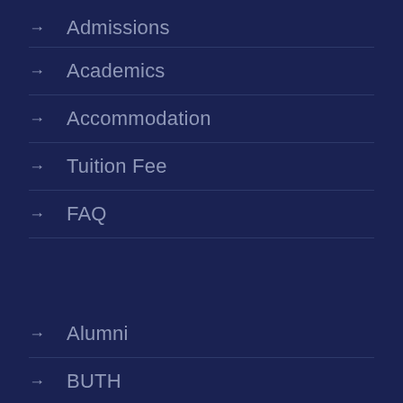→ Admissions
→ Academics
→ Accommodation
→ Tuition Fee
→ FAQ
→ Alumni
→ BUTH
→ Payment